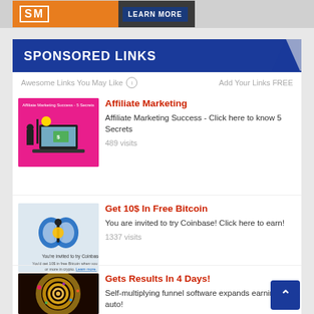[Figure (screenshot): Top banner advertisement with orange/dark background and LEARN MORE button]
SPONSORED LINKS
Awesome Links You May Like  Add Your Links FREE
[Figure (illustration): Affiliate marketing image on pink background showing person with laptop and money]
Affiliate Marketing
Affiliate Marketing Success - Click here to know 5 Secrets
489 visits
[Figure (illustration): Coinbase invitation graphic with gift box icon and text You're invited to try Coinbase!]
Get 10$ In Free Bitcoin
You are invited to try Coinbase! Click here to earn!
1337 visits
[Figure (illustration): Spiral pattern image with colorful circles on dark background]
Gets Results In 4 Days!
Self-multiplying funnel software expands earnings on auto!
3321 visits